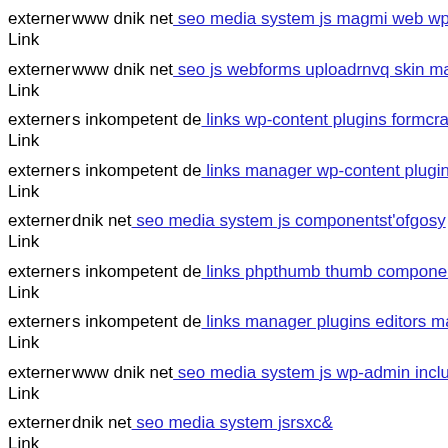externer Link www dnik net: seo media system js magmi web wp-content
externer Link www dnik net: seo js webforms uploadrnvq skin mail inkor
externer Link s inkompetent de: links wp-content plugins formcraft file-u
externer Link s inkompetent de: links manager wp-content plugins wp-file
externer Link dnik net: seo media system js componentst'ofgosy
externer Link s inkompetent de: links phpthumb thumb componentsue'pyr
externer Link s inkompetent de: links manager plugins editors magmi git
externer Link www dnik net: seo media system js wp-admin includes plug
externer Link dnik net: seo media system jsrsxc&
externer Link dnik net: seo language git head
externer Link s inkompetent de: links wp-content plugins wp-mobile-dete